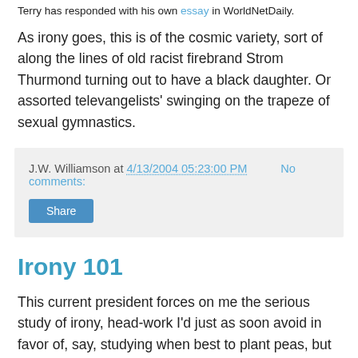Terry has responded with his own essay in WorldNetDaily.
As irony goes, this is of the cosmic variety, sort of along the lines of old racist firebrand Strom Thurmond turning out to have a black daughter. Or assorted televangelists' swinging on the trapeze of sexual gymnastics.
J.W. Williamson at 4/13/2004 05:23:00 PM   No comments:
Share
Irony 101
This current president forces on me the serious study of irony, head-work I'd just as soon avoid in favor of, say, studying when best to plant peas, but if you're paying the least amount of attention, you can't fail to notice the disconnect between what George W. says versus what he does and versus, actually, REALITY. Michael Tomasky, at The American Prospect, has posted an intense discussion of that very thing, following hard on the heels of El Presidente's